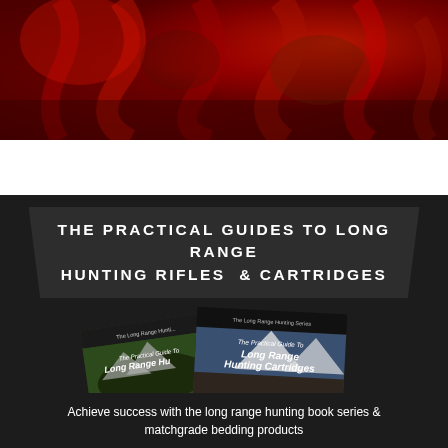[Figure (photo): Close-up photo of a red/bloody animal carcass or hunting scene with deep red tones and texture]
THE PRACTICAL GUIDES TO LONG RANGE HUNTING RIFLES & CARTRIDGES
[Figure (photo): Two book covers shown: 'The Practical Guide To Long Range Hunting Rifles' and 'The Practical Guide To Long Range Hunting Cartridges' from The Long Range Hunting Series, displayed against a dark background]
Achieve success with the long range hunting book series & matchgrade bedding products